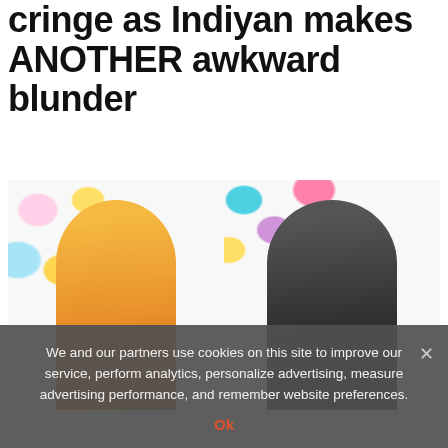cringe as Indiyan makes ANOTHER awkward blunder
[Figure (photo): Two women posing against a colorful heart and lollipop background. Left: woman in yellow bikini smiling. Right: woman in black outfit smiling.]
We and our partners use cookies on this site to improve our service, perform analytics, personalize advertising, measure advertising performance, and remember website preferences.
Ok